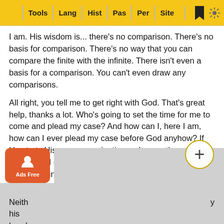Tools | Lang | Hist | Pas | Per | Site
I am. His wisdom is... there's no comparison. There's no basis for comparison. There's no way that you can compare the finite with the infinite. There isn't even a basis for a comparison. You can't even draw any comparisons.
All right, you tell me to get right with God. That's great help, thanks a lot. Who's going to set the time for me to come and plead my case? And how can I, here I am, how can I ever plead my case before God anyhow? If He starts His cross-examination, ask me a thousand questions, I can't answer a single one. If you can't answer a single question out of a thousand, you'll be thrown out of court as an unreliable witness. He's not a man like I am that I could come and say, "Hey, hey, what are You doing here? What's going on?" He's not a man like I am.
Neither ... y his hand ...